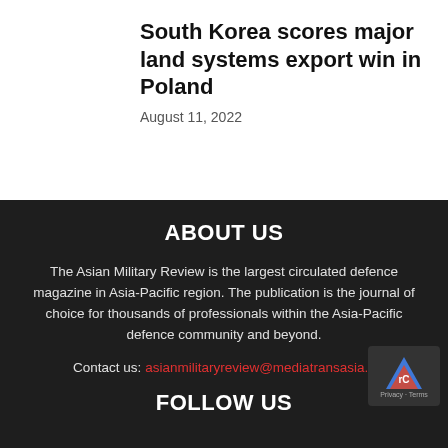South Korea scores major land systems export win in Poland
August 11, 2022
ABOUT US
The Asian Military Review is the largest circulated defence magazine in Asia-Pacific region. The publication is the journal of choice for thousands of professionals within the Asia-Pacific defence community and beyond.
Contact us: asianmilitaryreview@mediatransasia.c…
FOLLOW US